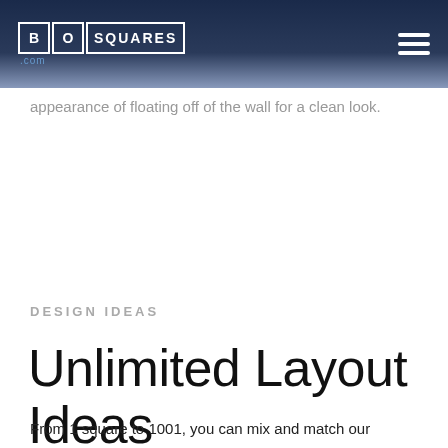BOSQUARES.com
appearance of floating off of the wall for a clean look.
DESIGN IDEAS
Unlimited Layout Ideas
From 1 square to 1001, you can mix and match our